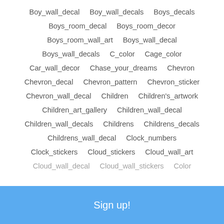Boy_wall_decal  Boy_wall_decals  Boys_decals
Boys_room_decal  Boys_room_decor
Boys_room_wall_art  Boys_wall_decal
Boys_wall_decals  C_color  Cage_color
Car_wall_decor  Chase_your_dreams  Chevron
Chevron_decal  Chevron_pattern  Chevron_sticker
Chevron_wall_decal  Children  Children's_artwork
Children_art_gallery  Children_wall_decal
Children_wall_decals  Childrens  Childrens_decals
Childrens_wall_decal  Clock_numbers
Clock_stickers  Cloud_stickers  Cloud_wall_art
Cloud_wall_decal  Cloud_wall_stickers  Color
Sign up!